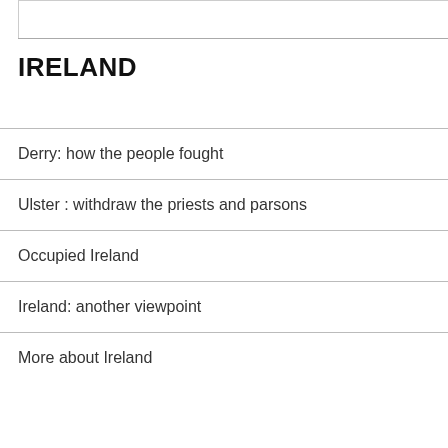IRELAND
Derry: how the people fought
Ulster : withdraw the priests and parsons
Occupied Ireland
Ireland: another viewpoint
More about Ireland